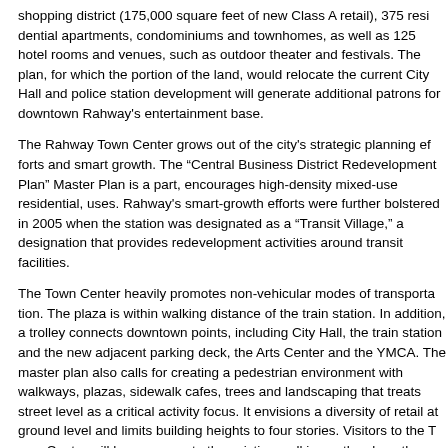shopping district (175,000 square feet of new Class A retail), 375 residential apartments, condominiums and townhomes, as well as 125 hotel rooms and venues, such as outdoor theater and festivals. The plan, for which the portion of the land, would relocate the current City Hall and police station development will generate additional patrons for downtown Rahway's entertainment base.
The Rahway Town Center grows out of the city's strategic planning efforts and smart growth. The "Central Business District Redevelopment Plan" Master Plan is a part, encourages high-density mixed-use residential, uses. Rahway's smart-growth efforts were further bolstered in 2005 when the station was designated as a "Transit Village," a designation that provides redevelopment activities around transit facilities.
The Town Center heavily promotes non-vehicular modes of transportation. The plaza is within walking distance of the train station. In addition, a trolley connects downtown points, including City Hall, the train station and the new adjacent parking deck, the Arts Center and the YMCA. The master plan also calls for creating a pedestrian environment with walkways, plazas, sidewalk cafes, trees and landscaping that treats street level as a critical activity focus. It envisions a diversity of retail at ground level and limits building heights to four stories. Visitors to the Town Center will have access to the existing walking paths along the Rahway River waterfront.
The conceptual plan and layout of the Rahway Town Center have been approved by the Redevelopment Agency and the City Council.